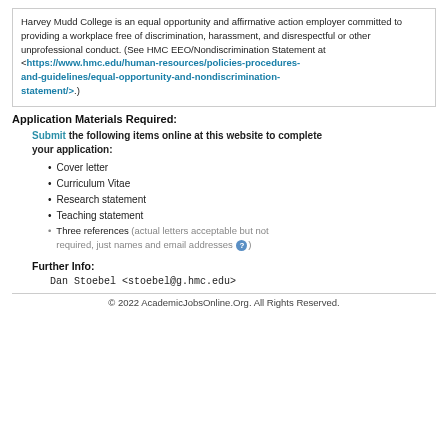Harvey Mudd College is an equal opportunity and affirmative action employer committed to providing a workplace free of discrimination, harassment, and disrespectful or other unprofessional conduct. (See HMC EEO/Nondiscrimination Statement at <https://www.hmc.edu/human-resources/policies-procedures-and-guidelines/equal-opportunity-and-nondiscrimination-statement/>.)
Application Materials Required:
Submit the following items online at this website to complete your application:
Cover letter
Curriculum Vitae
Research statement
Teaching statement
Three references (actual letters acceptable but not required, just names and email addresses ?)
Further Info:
Dan Stoebel <stoebel@g.hmc.edu>
© 2022 AcademicJobsOnline.Org. All Rights Reserved.